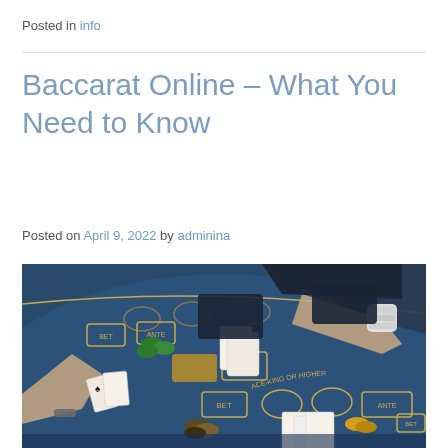Posted in info
Baccarat Online – What You Need to Know
Posted on April 9, 2022 by adminina
[Figure (photo): Overhead view of a blue felt casino baccarat/card table with players holding cards and casino chips, with a dealer standing at the far side.]